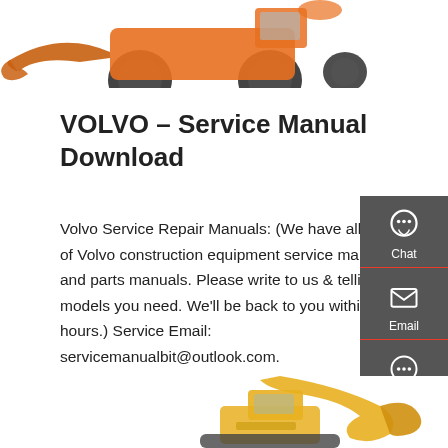[Figure (photo): Top portion of orange Volvo wheel loader construction equipment on white background]
VOLVO – Service Manual Download
Volvo Service Repair Manuals: (We have all models of Volvo construction equipment service manuals and parts manuals. Please write to us & telling what models you need. We'll be back to you within 12 hours.) Service Email: servicemanualbit@outlook.com.
[Figure (screenshot): Dark grey side panel with Chat, Email, and Contact icons]
[Figure (illustration): Red Get a quote button]
[Figure (photo): Bottom portion of yellow excavator construction equipment on white background]